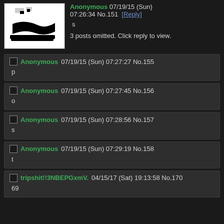Anonymous 07/19/15 (Sun) 07:26:34 No.151 [Reply]
s
3 posts omitted. Click reply to view.
Anonymous 07/19/15 (Sun) 07:27:27 No.155
p
Anonymous 07/19/15 (Sun) 07:27:45 No.156
o
Anonymous 07/19/15 (Sun) 07:28:56 No.157
s
Anonymous 07/19/15 (Sun) 07:29:19 No.158
t
tripshit!!3NBEPGxmV. 04/15/17 (Sat) 19:13:58 No.170
69